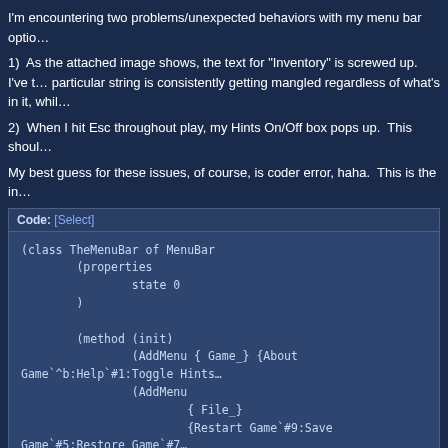I'm encountering two problems/unexpected behaviors with my menu bar optio…
1)  As the attached image shows, the text for "Inventory" is screwed up.  I've t… particular string is consistently getting mangled regardless of what's in it, whil…
2)  When I hit Esc throughout play, my Hints On/Off box pops up.  This shoul…
My best guess for these issues, of course, is coder error, haha.  This is the in…
Code: [Select]
[Figure (screenshot): Code block showing SCI/AGI game script defining TheMenuBar class with MenuBar methods including AddMenu calls for Game, File, Action menus]
Does anything look off here that could account for either of these issues?  I've…